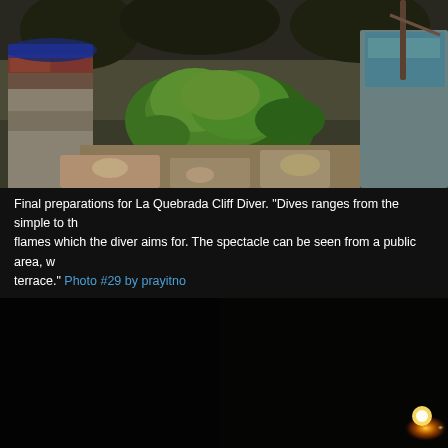[Figure (photo): Outdoor photograph of stone ruins with green plants/foliage growing among them. Rocky walls with blue and orange-toned stones visible. Dark background with trees.]
Final preparations for La Quebrada Cliff Diver. "Dives ranges from the simple to the flames which the diver aims for. The spectacle can be seen from a public area, w... terrace." Photo #29 by prayitno
[Figure (photo): Very dark/night photograph with a bright orange light source visible near the right edge, against a nearly black background.]